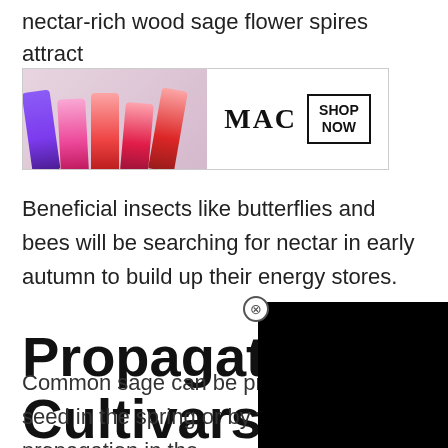nectar-rich wood sage flower spires attract return den.
[Figure (photo): MAC cosmetics advertisement showing colorful lipsticks and a SHOP NOW button]
Beneficial insects like butterflies and bees will be searching for nectar in early autumn to build up their energy stores.
Propagating Cultivars
[Figure (screenshot): Black overlay rectangle partially covering the section header, with an X close button]
Common sage can be propagated by seed in the spring or by vegetative propagation in the summer months for productive plants for